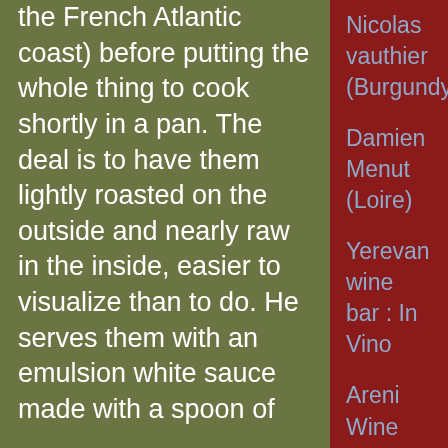the French Atlantic coast) before putting the whole thing to cook shortly in a pan. The deal is to have them lightly roasted on the outside and nearly raw in the inside, easier to visualize than to do. He serves them with an emulsion white sauce made with a spoon of
Nicolas vauthier (Burgundy)
Damien Menut (Loire)
Yerevan wine bar : In Vino
Areni Wine Festival (Armenia)
ArmAs Estate (Armenia)
Voskevaz winery (Armenia)
Armenia Wine Factory
Van Ardi winery (Armenia)
The Haquet sisters, pioneers of natural wine
Adrien De Mello (Loire)
Emily Dilling, American brewer in the Loire
Les Vignes de Babass (Loire)